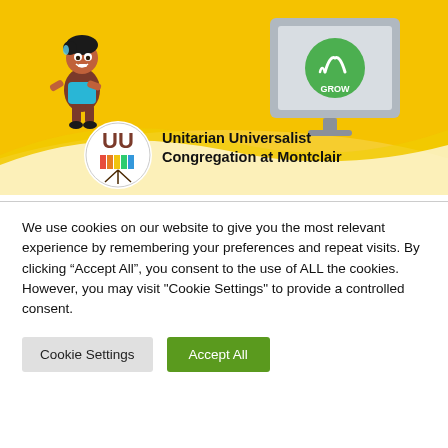[Figure (illustration): Banner image with yellow background showing cartoon child character, a tablet/monitor with green GROW icon, and the Unitarian Universalist Congregation at Montclair logo with text.]
We use cookies on our website to give you the most relevant experience by remembering your preferences and repeat visits. By clicking “Accept All”, you consent to the use of ALL the cookies. However, you may visit "Cookie Settings" to provide a controlled consent.